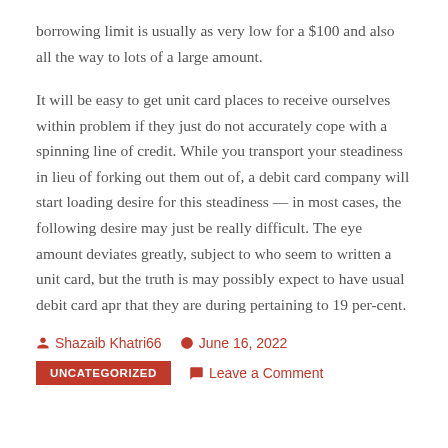borrowing limit is usually as very low for a $100 and also all the way to lots of a large amount.
It will be easy to get unit card places to receive ourselves within problem if they just do not accurately cope with a spinning line of credit. While you transport your steadiness in lieu of forking out them out of, a debit card company will start loading desire for this steadiness — in most cases, the following desire may just be really difficult. The eye amount deviates greatly, subject to who seem to written a unit card, but the truth is may possibly expect to have usual debit card apr that they are during pertaining to 19 per-cent.
Shazaib Khatri66   June 16, 2022
UNCATEGORIZED   Leave a Comment